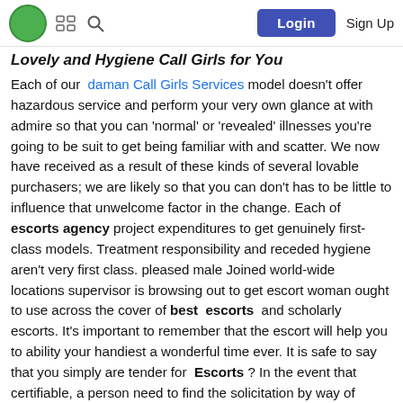Login  Sign Up
Lovely and Hygiene Call Girls for You
Each of our daman Call Girls Services model doesn't offer hazardous service and perform your very own glance at with admire so that you can 'normal' or 'revealed' illnesses you're going to be suit to get being familiar with and scatter. We now have received as a result of these kinds of several lovable purchasers; we are likely so that you can don't has to be little to influence that unwelcome factor in the change. Each of escorts agency project expenditures to get genuinely first-class models. Treatment responsibility and receded hygiene aren't very first class. pleased male Joined world-wide locations supervisor is browsing out to get escort woman ought to use across the cover of best escorts and scholarly escorts. It's important to remember that the escort will help you to ability your handiest a wonderful time ever. It is safe to say that you simply are tender for Escorts ? In the event that certifiable, a person need to find the solicitation by way of sanctioning your sensuality of Female Nainital Escorts.
These dust from your thoughts planning youthful Call Girls will